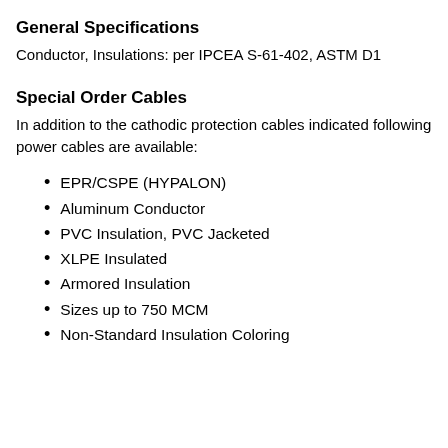General Specifications
Conductor, Insulations: per IPCEA S-61-402, ASTM D1
Special Order Cables
In addition to the cathodic protection cables indicated following power cables are available:
EPR/CSPE (HYPALON)
Aluminum Conductor
PVC Insulation, PVC Jacketed
XLPE Insulated
Armored Insulation
Sizes up to 750 MCM
Non-Standard Insulation Coloring